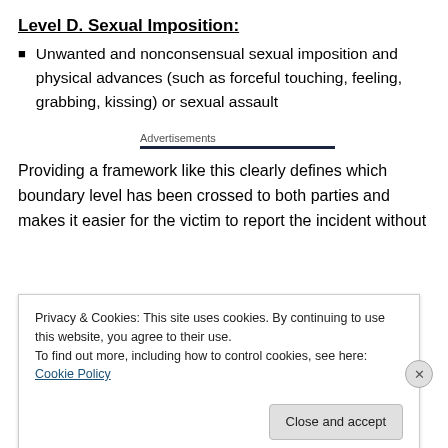Level D. Sexual Imposition:
Unwanted and nonconsensual sexual imposition and physical advances (such as forceful touching, feeling, grabbing, kissing) or sexual assault
Advertisements
Providing a framework like this clearly defines which boundary level has been crossed to both parties and makes it easier for the victim to report the incident without
Privacy & Cookies: This site uses cookies. By continuing to use this website, you agree to their use.
To find out more, including how to control cookies, see here: Cookie Policy
Close and accept